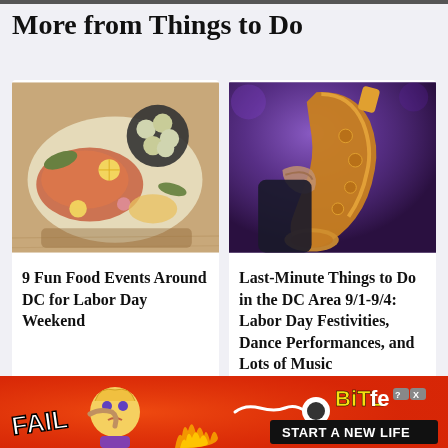More from Things to Do
[Figure (photo): Overhead view of seafood spread including fish, oysters, and garnishes on a table]
9 Fun Food Events Around DC for Labor Day Weekend
[Figure (photo): Close-up of a musician playing a saxophone under purple stage lighting]
Last-Minute Things to Do in the DC Area 9/1-9/4: Labor Day Festivities, Dance Performances, and Lots of Music Festivals
[Figure (other): BitLife advertisement banner with FAIL text, cartoon character, flames, and START A NEW LIFE call to action]